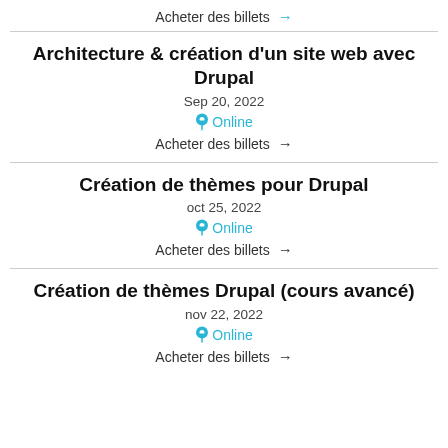Acheter des billets →
Architecture & création d'un site web avec Drupal
Sep 20, 2022
Online
Acheter des billets →
Création de thèmes pour Drupal
oct 25, 2022
Online
Acheter des billets →
Création de thèmes Drupal (cours avancé)
nov 22, 2022
Online
Acheter des billets →